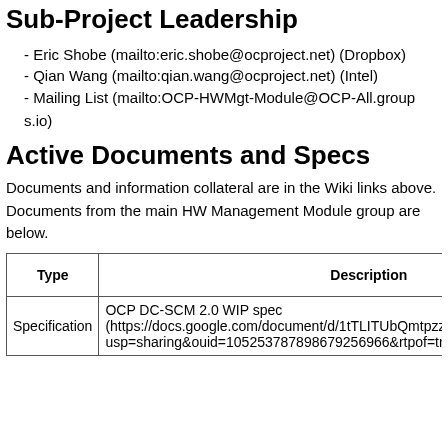Sub-Project Leadership
- Eric Shobe (mailto:eric.shobe@ocproject.net) (Dropbox)
- Qian Wang (mailto:qian.wang@ocproject.net) (Intel)
- Mailing List (mailto:OCP-HWMgt-Module@OCP-All.groups.io)
Active Documents and Specs
Documents and information collateral are in the Wiki links above. Documents from the main HW Management Module group are below.
| Type | Description | Version | Submit Date | Contr |
| --- | --- | --- | --- | --- |
| Specification | OCP DC-SCM 2.0 WIP spec (https://docs.google.com/document/d/1tTLITUbQmtpzzOmqgmp72K7xsl2FxbfH/edit?usp=sharing&ouid=105253787898679256966&rtpof=true&sd=true) | WIP 2.0 | N/A | N/A |